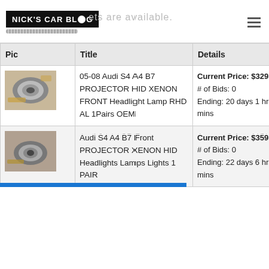NICK'S CAR BLOG
| Pic | Title | Details |
| --- | --- | --- |
| [headlight image] | 05-08 Audi S4 A4 B7 PROJECTOR HID XENON FRONT Headlight Lamp RHD AL 1Pairs OEM | Current Price: $329.99
# of Bids: 0
Ending: 20 days 1 hr 31 mins |
| [headlight image] | Audi S4 A4 B7 Front PROJECTOR XENON HID Headlights Lamps Lights 1 PAIR | Current Price: $359.9
# of Bids: 0
Ending: 22 days 6 hrs 44 mins |